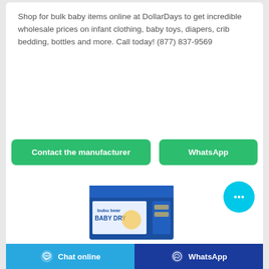Shop for bulk baby items online at DollarDays to get incredible wholesale prices on infant clothing, baby toys, diapers, crib bedding, bottles and more. Call today! (877) 837-9569
[Figure (screenshot): Two green rounded buttons side by side: 'Contact the manufacturer' on the left and 'WhatsApp' on the right]
[Figure (photo): Product box labeled 'bubu bear BABY DRY' with colorful packaging in blue, partially visible at bottom of card]
[Figure (illustration): Cyan circular chat bubble button with three dots (…) in the bottom-right area]
[Figure (screenshot): Bottom navigation bar with two buttons: blue 'Chat online' on the left with chat icon, and dark blue 'WhatsApp' on the right with WhatsApp icon]